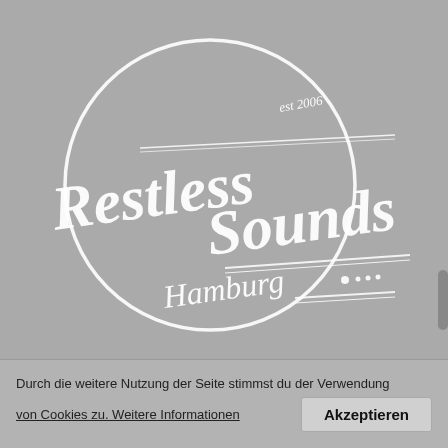[Figure (logo): RestlessSounds Hamburg est 2006 logo — white script lettering with decorative circle, double lines and dot accents on a gray background]
Durch die weitere Nutzung der Seite stimmst du der Verwendung von Cookies zu. Weitere Informationen
Akzeptieren